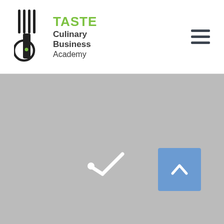TASTE Culinary Business Academy
[Figure (screenshot): Gray loading/content area with a white checkmark/loading spinner icon in the center and a blue back-to-top button (chevron up) in the lower right]
[Figure (other): Blue back-to-top button with white upward chevron arrow]